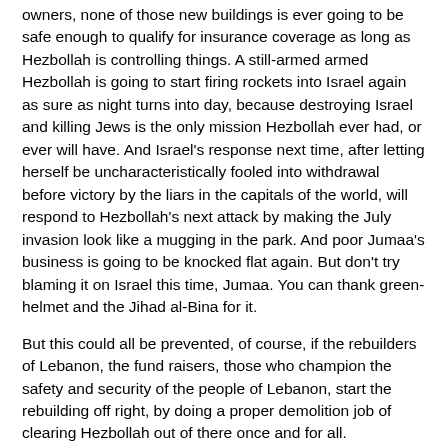owners, none of those new buildings is ever going to be safe enough to qualify for insurance coverage as long as Hezbollah is controlling things. A still-armed armed Hezbollah is going to start firing rockets into Israel again as sure as night turns into day, because destroying Israel and killing Jews is the only mission Hezbollah ever had, or ever will have. And Israel's response next time, after letting herself be uncharacteristically fooled into withdrawal before victory by the liars in the capitals of the world, will respond to Hezbollah's next attack by making the July invasion look like a mugging in the park. And poor Jumaa's business is going to be knocked flat again. But don't try blaming it on Israel this time, Jumaa. You can thank green-helmet and the Jihad al-Bina for it.
But this could all be prevented, of course, if the rebuilders of Lebanon, the fund raisers, those who champion the safety and security of the people of Lebanon, start the rebuilding off right, by doing a proper demolition job of clearing Hezbollah out of there once and for all.
By demanding, when they send aid, that what's left of the